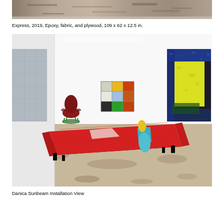[Figure (photo): Top cropped portion of an artwork showing a textured surface resembling aged/stained material in brown and beige tones]
Express, 2019, Epoxy, fabric, and plywood, 109 x 62 x 12.5 in.
[Figure (photo): Gallery installation view showing a red daybed/mattress with a cyan/turquoise cylindrical bolster pillow in the foreground on a concrete floor, a red Eames-style chair to the left, a grid of colorful sculptural box pieces mounted on the wall in the center, and a large textured wall piece with blue, yellow, and black colors on the right wall. The gallery has white walls and fluorescent lighting.]
Danica Sunbeam Installation View